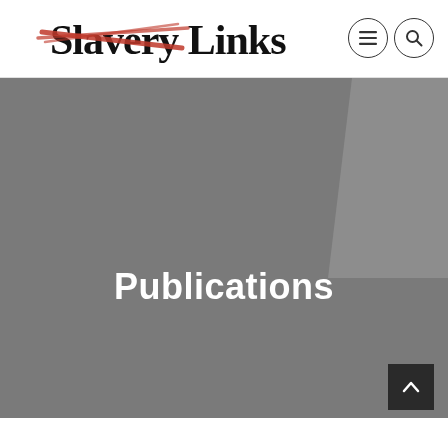[Figure (logo): Slavery Links website logo — black text 'Slavery Links' with a red diagonal slash/strikethrough over the word 'Slavery'. Bold sans-serif font.]
[Figure (other): Navigation menu icon (three horizontal lines) in a circle]
[Figure (other): Search icon (magnifying glass) in a circle]
Publications
[Figure (other): Scroll-to-top button — dark square with upward chevron arrow]